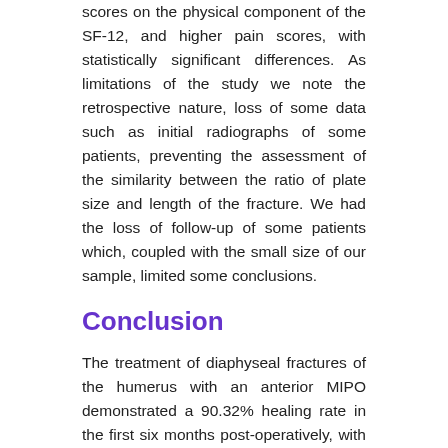scores on the physical component of the SF-12, and higher pain scores, with statistically significant differences. As limitations of the study we note the retrospective nature, loss of some data such as initial radiographs of some patients, preventing the assessment of the similarity between the ratio of plate size and length of the fracture. We had the loss of follow-up of some patients which, coupled with the small size of our sample, limited some conclusions.
Conclusion
The treatment of diaphyseal fractures of the humerus with an anterior MIPO demonstrated a 90.32% healing rate in the first six months post-operatively, with good clinical and functional results according to the DASH and SF-12 scores. Patients who did not heal the fracture presented greater radiographic coronal deviation. Patients with an unsatisfactory DASH had a longer elapsed time until surgery, less elevation of the shoulder, lower scores on the physical component of the SF-12, and higher pain scores, with statistically significant differences. Injuries by firearm combined with impairment of the radial nerve related to worse functional outcomes in